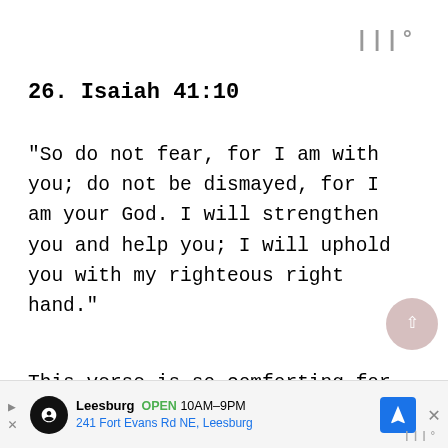|||°
26. Isaiah 41:10
“So do not fear, for I am with you; do not be dismayed, for I am your God. I will strengthen you and help you; I will uphold you with my righteous right hand.”
This verse is so comforting for us
because God promises that He is with